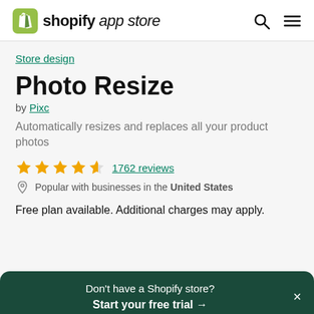shopify app store
Store design
Photo Resize
by Pixc
Automatically resizes and replaces all your product photos
★★★★★ 1762 reviews
Popular with businesses in the United States
Free plan available. Additional charges may apply.
Don't have a Shopify store? Start your free trial →